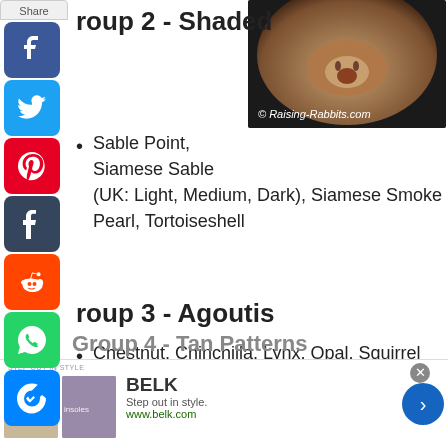[Figure (photo): Close-up photo of a rabbit's nose and fur, with watermark © Raising-Rabbits.com]
Group 2 - Shaded
Sable Point, Siamese Sable (UK: Light, Medium, Dark), Siamese Smoke Pearl, Tortoiseshell
Group 3 - Agoutis
Chestnut, Chinchilla, Lynx, Opal, Squirrel
Group 4 - Tan Patterns
[Figure (screenshot): Advertisement banner for BELK - Step out in style. www.belk.com]